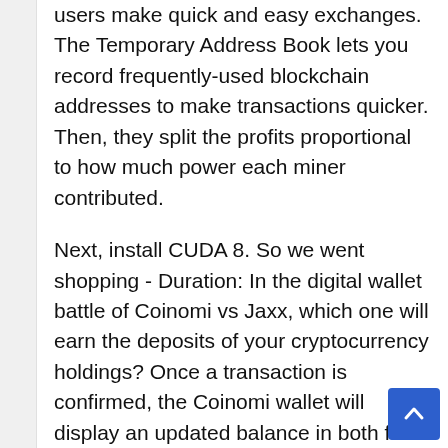users make quick and easy exchanges. The Temporary Address Book lets you record frequently-used blockchain addresses to make transactions quicker. Then, they split the profits proportional to how much power each miner contributed.
Next, install CUDA 8. So we went shopping - Duration: In the digital wallet battle of Coinomi vs Jaxx, which one will earn the deposits of your cryptocurrency holdings? Once a transaction is confirmed, the Coinomi wallet will display an updated balance in both fiat currency and cryptocurrency. Most importantly, no Coinomi wallet has ever been hacked or otherwise compromised to date. Click our referral link and get that purchase now. Bits Be Trippin' 61, views. I took it as an opportunity to